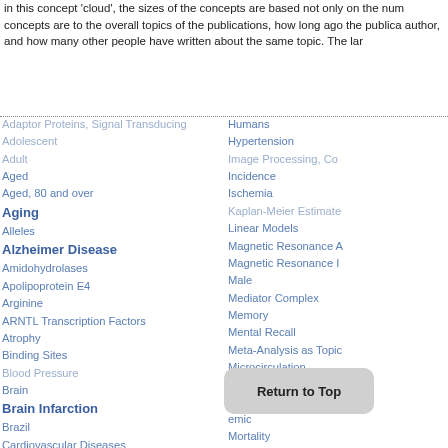in this concept 'cloud', the sizes of the concepts are based not only on the num concepts are to the overall topics of the publications, how long ago the publica author, and how many other people have written about the same topic. The lar
Adaptor Proteins, Signal Transducing
Adolescent
Adult
Aged
Aged, 80 and over
Aging
Alleles
Alzheimer Disease
Amidohydrolases
Apolipoprotein E4
Arginine
ARNTL Transcription Factors
Atrophy
Binding Sites
Blood Pressure
Brain
Brain Infarction
Brazil
Cardiovascular Diseases
Carotid Arteries
Humans
Hypertension
Image Processing, Co
Incidence
Ischemia
Kaplan-Meier Estimate
Linear Models
Magnetic Resonance A
Magnetic Resonance I
Male
Mediator Complex
Memory
Mental Recall
Meta-Analysis as Topic
Microcirculation
Middle Aged
Molecular Chaperones
emic
Mortality